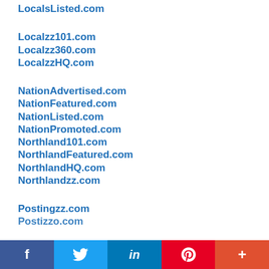LocalsListed.com
Localzz101.com
Localzz360.com
LocalzzHQ.com
NationAdvertised.com
NationFeatured.com
NationListed.com
NationPromoted.com
Northland101.com
NorthlandFeatured.com
NorthlandHQ.com
Northlandzz.com
Postingzz.com
Postizzo.com
f  (Twitter bird)  in  P  +